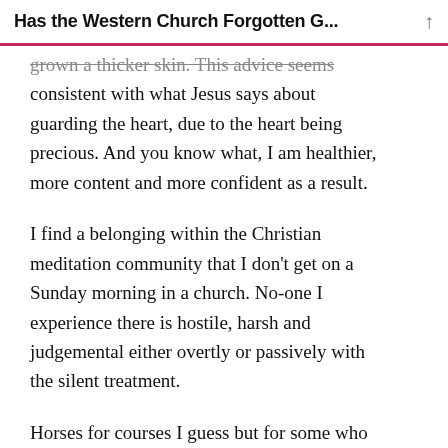Has the Western Church Forgotten G...
grown a thicker skin. This advice seems consistent with what Jesus says about guarding the heart, due to the heart being precious. And you know what, I am healthier, more content and more confident as a result.
I find a belonging within the Christian meditation community that I don't get on a Sunday morning in a church. No-one I experience there is hostile, harsh and judgemental either overtly or passively with the silent treatment.
Horses for courses I guess but for some who